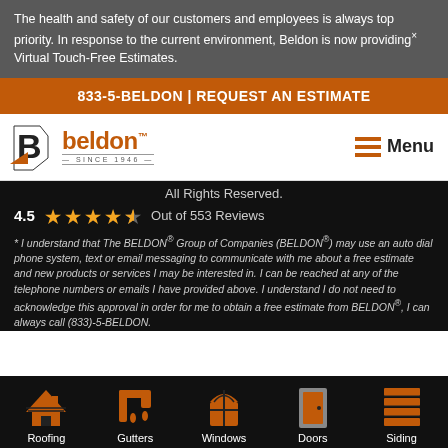The health and safety of our customers and employees is always top priority. In response to the current environment, Beldon is now providing× Virtual Touch-Free Estimates.
833-5-BELDON | REQUEST AN ESTIMATE
[Figure (logo): Beldon logo with B icon and 'SINCE 1946' text]
Menu
All Rights Reserved.
4.5  ★★★★½  Out of 553 Reviews
* I understand that The BELDON® Group of Companies (BELDON®) may use an auto dial phone system, text or email messaging to communicate with me about a free estimate and new products or services I may be interested in. I can be reached at any of the telephone numbers or emails I have provided above. I understand I do not need to acknowledge this approval in order for me to obtain a free estimate from BELDON®, I can always call (833)-5-BELDON.
[Figure (illustration): Footer icons for Roofing, Gutters, Windows, Doors, Siding services]